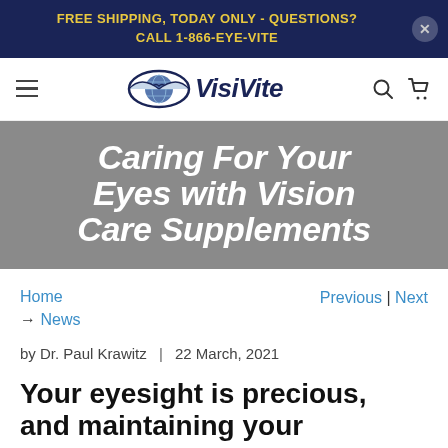FREE SHIPPING, TODAY ONLY - QUESTIONS? CALL 1-866-EYE-VITE
[Figure (logo): VisiVite logo with eye and globe icon, navy blue text]
Caring For Your Eyes with Vision Care Supplements
Home → News    Previous | Next
by Dr. Paul Krawitz | 22 March, 2021
Your eyesight is precious, and maintaining your